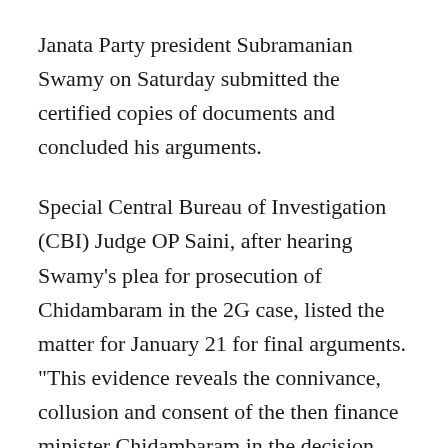Janata Party president Subramanian Swamy on Saturday submitted the certified copies of documents and concluded his arguments.
Special Central Bureau of Investigation (CBI) Judge OP Saini, after hearing Swamy's plea for prosecution of Chidambaram in the 2G case, listed the matter for January 21 for final arguments. "This evidence reveals the connivance, collusion and consent of the then finance minister Chidambaram in the decision taken by the then telecom minister A Raja on the matter of fixing prices of spectrum licences and the matter of permitting companies who received licences," Swamy said.